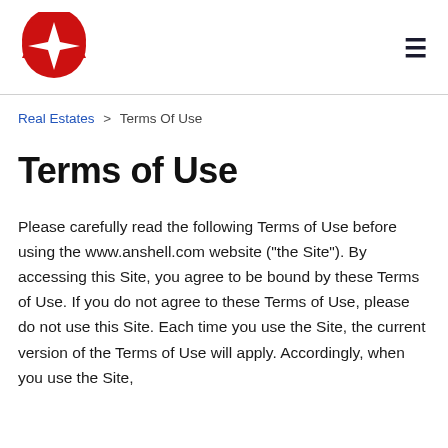[Figure (logo): Anshell Real Estates logo - red semicircle with white cross/star shape]
Real Estates > Terms Of Use
Terms of Use
Please carefully read the following Terms of Use before using the www.anshell.com website (“the Site”). By accessing this Site, you agree to be bound by these Terms of Use. If you do not agree to these Terms of Use, please do not use this Site. Each time you use the Site, the current version of the Terms of Use will apply. Accordingly, when you use the Site,